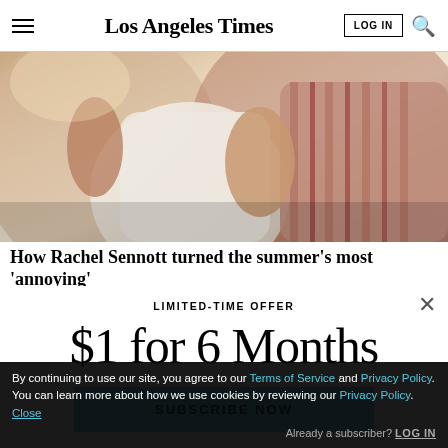Los Angeles Times
[Figure (photo): Close-up photo of two people embracing, one wearing a white long-sleeve shirt and the other a striped shirt]
How Rachel Sennott turned the summer's most 'annoying'
LIMITED-TIME OFFER
$1 for 6 Months
SUBSCRIBE NOW
By continuing to use our site, you agree to our Terms of Service and Privacy Policy. You can learn more about how we use cookies by reviewing our Privacy Policy. Close
Already a subscriber? LOG IN